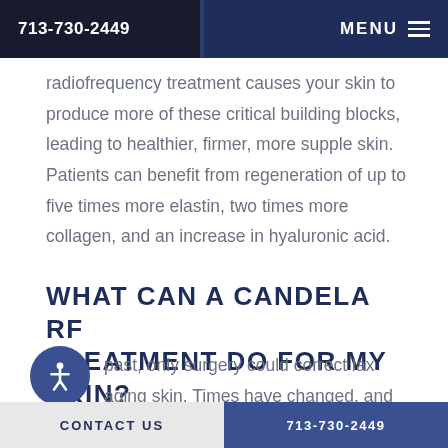713-730-2449   MENU
radiofrequency treatment causes your skin to produce more of these critical building blocks, leading to healthier, firmer, more supple skin. Patients can benefit from regeneration of up to five times more elastin, two times more collagen, and an increase in hyaluronic acid.
WHAT CAN A CANDELA RF TREATMENT DO FOR MY SKIN?
In the past, only surgery could correct lax aging skin. Times have changed, and at Eisemann Plastic Surgery
CONTACT US   713-730-2449